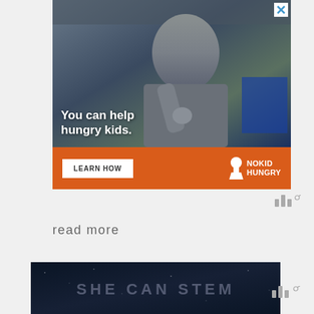[Figure (photo): Advertisement banner with photo of a young boy eating/holding food in a classroom, with text overlay 'You can help hungry kids.' and an orange bar at bottom with 'LEARN HOW' button and No Kid Hungry logo]
[Figure (logo): Taboola widget icon - three bars and degree symbol]
read more
[Figure (photo): Dark navy banner reading 'SHE CAN STEM' in faded letters with star-like background]
[Figure (logo): Taboola widget icon - three bars and degree symbol]